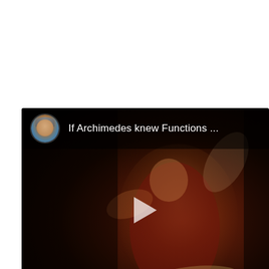[Figure (screenshot): YouTube video thumbnail/embed showing a dark painting of Archimedes in red robes, with a channel avatar (man smiling outdoors) and title 'If Archimedes knew Functions ...' in the top overlay bar, a play button in the center, and a 'Watch on YouTube' badge in the bottom-left corner.]